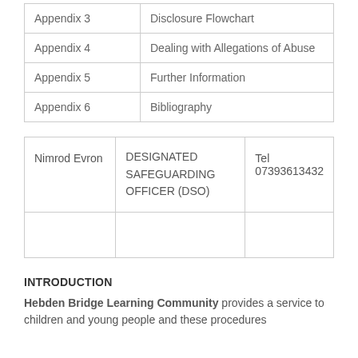|  |  |
| --- | --- |
| Appendix 3 | Disclosure Flowchart |
| Appendix 4 | Dealing with Allegations of Abuse |
| Appendix 5 | Further Information |
| Appendix 6 | Bibliography |
|  |  |  |
| --- | --- | --- |
| Nimrod Evron | DESIGNATED SAFEGUARDING OFFICER (DSO) | Tel 07393613432 |
|  |  |  |
INTRODUCTION
Hebden Bridge Learning Community provides a service to children and young people and these procedures